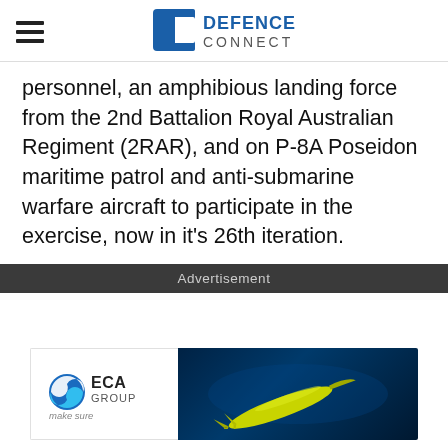DEFENCE CONNECT
personnel, an amphibious landing force from the 2nd Battalion Royal Australian Regiment (2RAR), and on P-8A Poseidon maritime patrol and anti-submarine warfare aircraft to participate in the exercise, now in it’s 26th iteration.
Advertisement
[Figure (photo): ECA Group advertisement banner showing a yellow underwater drone/torpedo on dark blue ocean background with ECA Group logo and 'make sure' tagline]